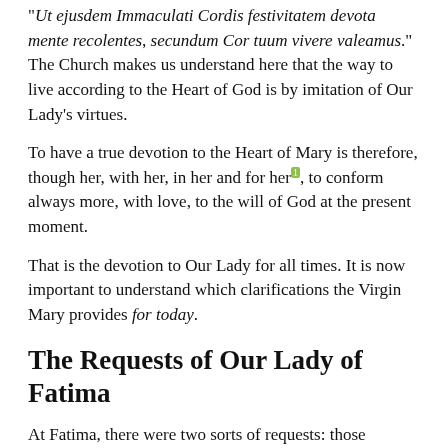"Ut ejusdem Immaculati Cordis festivitatem devota mente recolentes, secundum Cor tuum vivere valeamus." The Church makes us understand here that the way to live according to the Heart of God is by imitation of Our Lady's virtues.
To have a true devotion to the Heart of Mary is therefore, though her, with her, in her and for her[1], to conform always more, with love, to the will of God at the present moment.
That is the devotion to Our Lady for all times. It is now important to understand which clarifications the Virgin Mary provides for today.
The Requests of Our Lady of Fatima
At Fatima, there were two sorts of requests: those addressed to all the faithful, and those meant for the Pope. Let us examine first the requests regarding all the faithful.